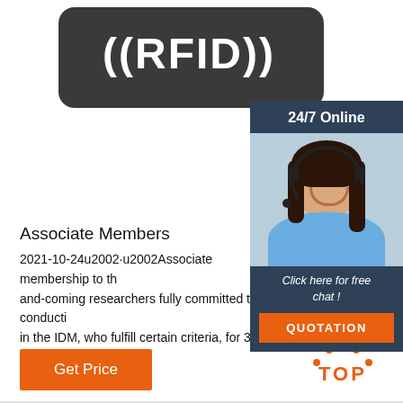[Figure (photo): RFID tag/card with white ((RFID)) text on dark rounded rectangle background]
[Figure (infographic): 24/7 Online customer service sidebar with woman wearing headset, 'Click here for free chat!' text and orange QUOTATION button]
Associate Members
2021-10-24u2002·u2002Associate membership to the and-coming researchers fully committed to conducting in the IDM, who fulfill certain criteria, for 3-year term renewable.
[Figure (other): Orange 'Get Price' button]
[Figure (logo): Orange TOP badge with dot triangle above text]